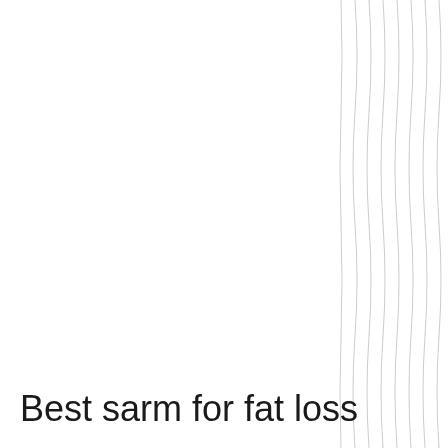[Figure (illustration): Decorative wavy vertical lines along the right margin of the page]
Best sarm for fat loss